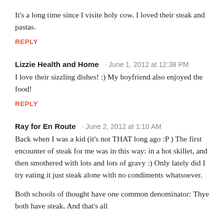It's a long time since I visite holy cow. I loved their steak and pastas.
REPLY
Lizzie Health and Home · June 1, 2012 at 12:38 PM
I love their sizzling dishes! :) My boyfriend also enjoyed the food!
REPLY
Ray for En Route · June 2, 2012 at 1:10 AM
Back when I was a kid (it's not THAT long ago :P ) The first encounter of steak for me was in this way: in a hot skillet, and then smothered with lots and lots of gravy :) Only lately did I try eating it just steak alone with no condiments whatsoever.
Both schools of thought have one common denominator: Thye both have steak. And that's all